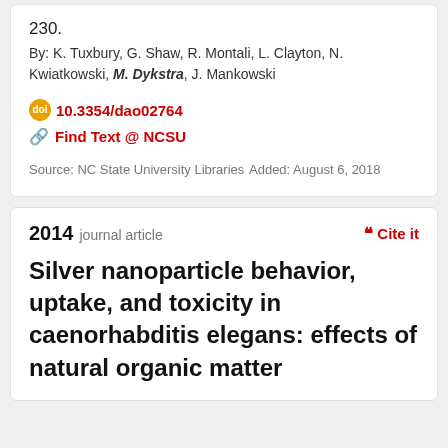230.
By: K. Tuxbury, G. Shaw, R. Montali, L. Clayton, N. Kwiatkowski, M. Dykstra, J. Mankowski
10.3354/dao02764
Find Text @ NCSU
Source: NC State University Libraries
Added: August 6, 2018
2014 journal article
Cite it
Silver nanoparticle behavior, uptake, and toxicity in caenorhabditis elegans: effects of natural organic matter